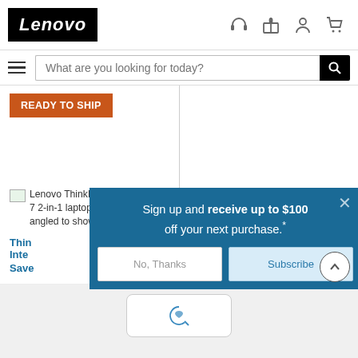Lenovo
What are you looking for today?
READY TO SHIP
[Figure (photo): Lenovo ThinkPad X1 Yoga Gen 7 2-in-1 laptop in Tent mode, angled to show right-side ports. (left column)]
[Figure (photo): Lenovo ThinkPad X1 Yoga Gen 7 2-in-1 laptop in Tent mode, angled to show right-side ports. (right column)]
Sign up and receive up to $100 off your next purchase.*
No, Thanks
Subscribe